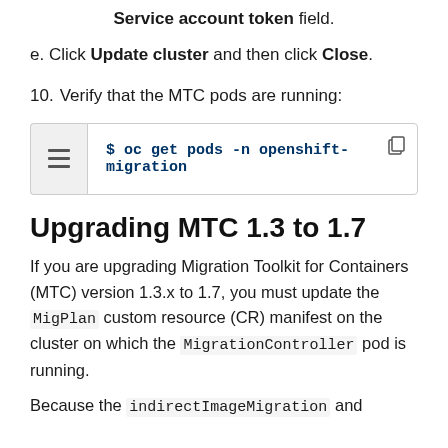Enter the new service account token in the Service account token field.
e. Click Update cluster and then click Close.
10. Verify that the MTC pods are running:
[Figure (screenshot): Code block showing: $ oc get pods -n openshift-migration]
Upgrading MTC 1.3 to 1.7
If you are upgrading Migration Toolkit for Containers (MTC) version 1.3.x to 1.7, you must update the MigPlan custom resource (CR) manifest on the cluster on which the MigrationController pod is running.
Because the indirectImageMigration and